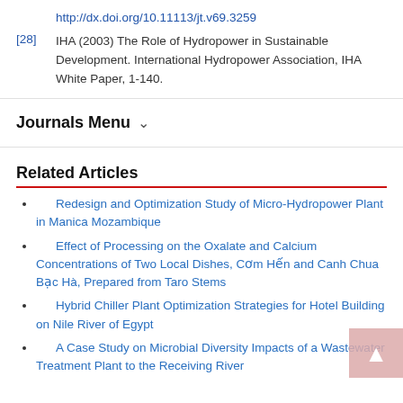http://dx.doi.org/10.11113/jt.v69.3259
[28] IHA (2003) The Role of Hydropower in Sustainable Development. International Hydropower Association, IHA White Paper, 1-140.
Journals Menu
Related Articles
Redesign and Optimization Study of Micro-Hydropower Plant in Manica Mozambique
Effect of Processing on the Oxalate and Calcium Concentrations of Two Local Dishes, Cơm Hến and Canh Chua Bạc Hà, Prepared from Taro Stems
Hybrid Chiller Plant Optimization Strategies for Hotel Building on Nile River of Egypt
A Case Study on Microbial Diversity Impacts of a Wastewater Treatment Plant to the Receiving River